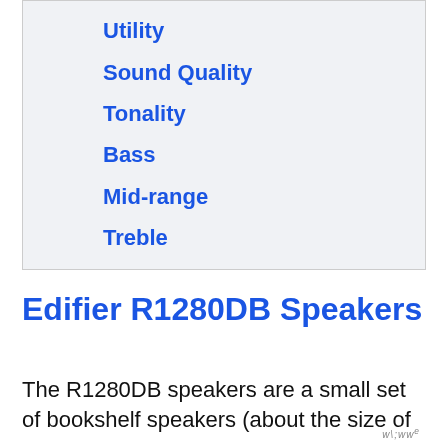Utility
Sound Quality
Tonality
Bass
Mid-range
Treble
Edifier R1280DB Speakers
The R1280DB speakers are a small set of bookshelf speakers (about the size of